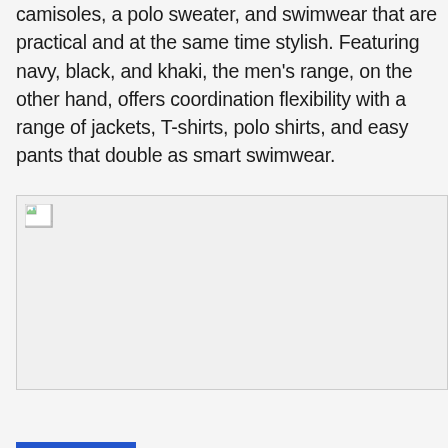camisoles, a polo sweater, and swimwear that are practical and at the same time stylish. Featuring navy, black, and khaki, the men's range, on the other hand, offers coordination flexibility with a range of jackets, T-shirts, polo shirts, and easy pants that double as smart swimwear.
[Figure (photo): A broken/missing image placeholder with a small broken image icon in the top-left corner, shown with a light gray background and border.]